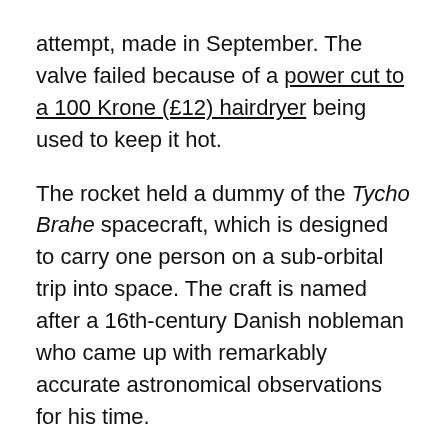attempt, made in September. The valve failed because of a power cut to a 100 Krone (£12) hairdryer being used to keep it hot.
The rocket held a dummy of the Tycho Brahe spacecraft, which is designed to carry one person on a sub-orbital trip into space. The craft is named after a 16th-century Danish nobleman who came up with remarkably accurate astronomical observations for his time.
According to legend, Brahe was also notable for keeping a clairvoyant dwarf named Jepp as a jester, and having an elk that died after falling down the stairs drunk. The nobleman also wore a fake nose made of gold and silver after losing his real nose in